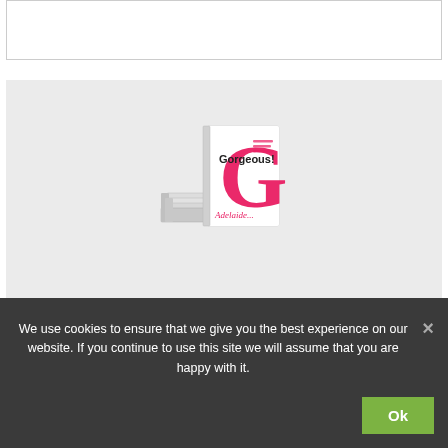[Figure (illustration): Stack of books with the top book showing a pink cover with a large letter G and the title 'Gorgeous!']
Get a free chapter of my book
We use cookies to ensure that we give you the best experience on our website. If you continue to use this site we will assume that you are happy with it.